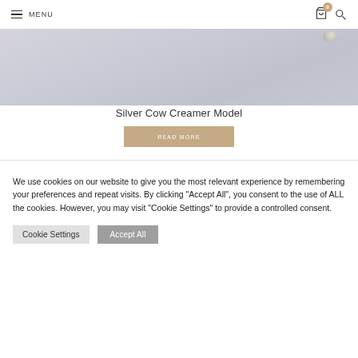MENU
[Figure (photo): Partial view of a silver cow creamer model against a light lavender-grey background]
Silver Cow Creamer Model
READ MORE
We use cookies on our website to give you the most relevant experience by remembering your preferences and repeat visits. By clicking “Accept All”, you consent to the use of ALL the cookies. However, you may visit "Cookie Settings" to provide a controlled consent.
Cookie Settings   Accept All